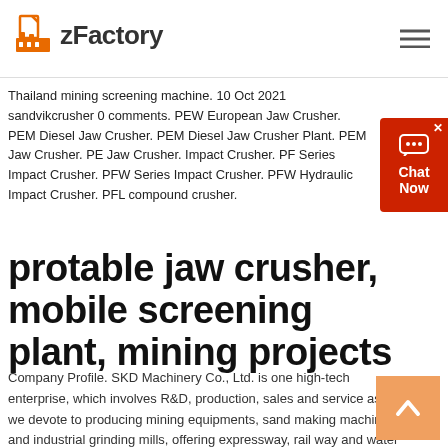zFactory
Thailand mining screening machine. 10 Oct 2021 sandvikcrusher 0 comments. PEW European Jaw Crusher. PEM Diesel Jaw Crusher. PEM Diesel Jaw Crusher Plant. PEM Jaw Crusher. PE Jaw Crusher. Impact Crusher. PF Series Impact Crusher. PFW Series Impact Crusher. PFW Hydraulic Impact Crusher. PFL compound crusher.
protable jaw crusher, mobile screening plant, mining projects
Company Profile. SKD Machinery Co., Ltd. is one high-tech enterprise, which involves R&D, production, sales and service as well. we devote to producing mining equipments, sand making machines and industrial grinding mills, offering expressway, rail way and water conservancy projects the solution of making high grade sand and matched equipments.